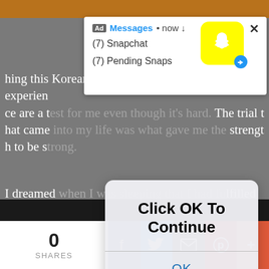[Figure (screenshot): Mobile browser screenshot showing a blog post about Korean drama with overlaid Snapchat ad notification and 'Click OK To Continue' browser dialog. Bottom social share bar with 0 shares, Facebook, Twitter, Email, Pinterest, and More buttons.]
hing this Korean drama. All the hardships I experience are a test for me even though it's hard. The trial that came into my life was what gave me the strength to be strong.
I dreamed when I was sleeping that I had fulfilled my dream. I will support my family and others who are much more in need of my help. I still prayed that time would accelerate in order for me to do a job.